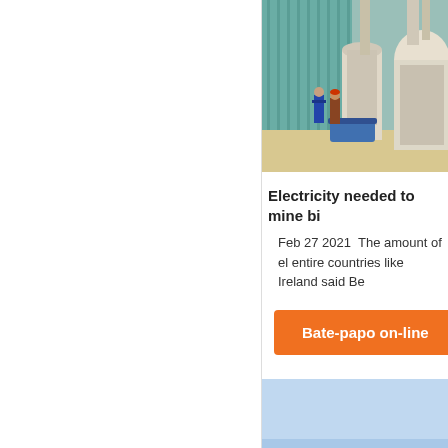[Figure (photo): Industrial mining/milling equipment inside a large facility with two workers standing near machinery and large cylindrical processing units]
Electricity needed to mine bi
Feb 27 2021  The amount of el entire countries like Ireland said Be
Bate-papo on-line
[Figure (photo): Outdoor mining site with conveyor belts and mining machinery under a blue sky]